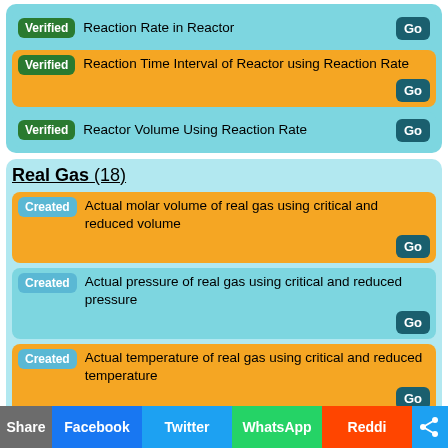Verified — Reaction Rate in Reactor — Go
Verified — Reaction Time Interval of Reactor using Reaction Rate — Go
Verified — Reactor Volume Using Reaction Rate — Go
Real Gas (18)
Created — Actual molar volume of real gas using critical and reduced volume — Go
Created — Actual pressure of real gas using critical and reduced pressure — Go
Created — Actual temperature of real gas using critical and reduced temperature — Go
Created — Actual volume of real gas using critical and reduced volume — Go
Share  Facebook  Twitter  WhatsApp  Reddit